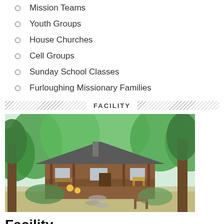Mission Teams
Youth Groups
House Churches
Cell Groups
Sunday School Classes
Furloughing Missionary Families
FACILITY
[Figure (photo): Outdoor photo of a rustic log cabin with a covered front porch, surrounded by green trees and lush vegetation. A stone pathway leads to the cabin entrance. Chairs and benches are visible on the porch.]
Facility